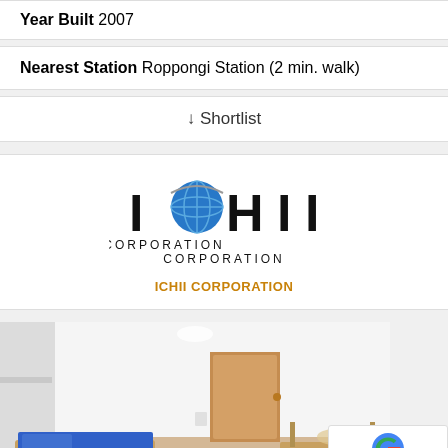Year Built 2007
Nearest Station Roppongi Station (2 min. walk)
↓ Shortlist
[Figure (logo): ICHII CORPORATION logo with globe graphic]
ICHII CORPORATION
[Figure (photo): Interior photo of a small room with a single bed with blue bedding, white walls, wooden floor, and a door in the background]